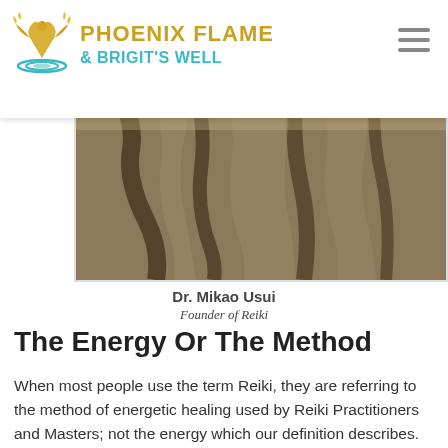PHOENIX FLAME & BRIGIT'S WELL
[Figure (photo): Close-up black and white photograph of what appears to be stone or rock surface with deep grooves and texture, possibly a historic carved surface or natural rock formation. Image has a sepia/monochrome tone.]
Dr. Mikao Usui
Founder of Reiki
The Energy Or The Method
When most people use the term Reiki, they are referring to the method of energetic healing used by Reiki Practitioners and Masters; not the energy which our definition describes. Often people differentiate between the two concepts by capitalizing the name Reiki when it